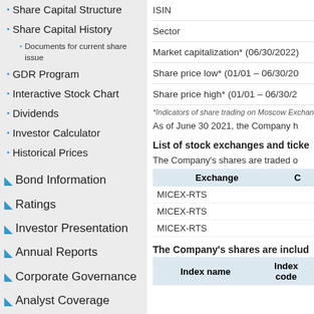Share Capital Structure
Share Capital History
Documents for current share issue
GDR Program
Interactive Stock Chart
Dividends
Investor Calculator
Historical Prices
Bond Information
Ratings
Investor Presentation
Annual Reports
Corporate Governance
Analyst Coverage
Investor Calendar
IR Team
ISIN
Sector
Market capitalization* (06/30/2022)
Share price low* (01/01 – 06/30/20
Share price high* (01/01 – 06/30/2
*Indicators of share trading on Moscow Exchang
As of June 30 2021, the Company h
List of stock exchanges and ticke
The Company's shares are traded o
| Exchange | C |
| --- | --- |
| MICEX-RTS |  |
| MICEX-RTS |  |
| MICEX-RTS |  |
The Company's shares are includ
| Index name | Index code |
| --- | --- |